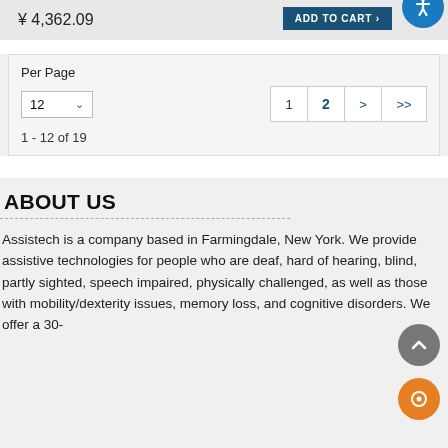¥ 4,362.09
ADD TO CART
Per Page
12
1 - 12 of 19
1  2  >  >>
ABOUT US
Assistech is a company based in Farmingdale, New York. We provide assistive technologies for people who are deaf, hard of hearing, blind, partly sighted, speech impaired, physically challenged, as well as those with mobility/dexterity issues, memory loss, and cognitive disorders. We offer a 30-